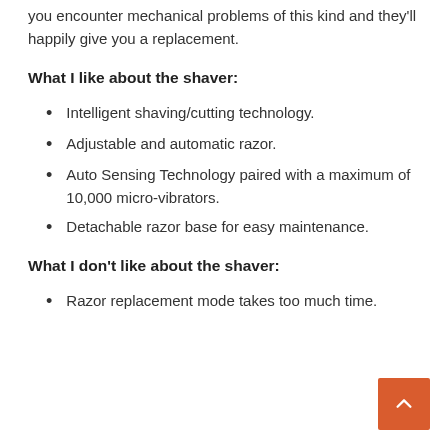you encounter mechanical problems of this kind and they'll happily give you a replacement.
What I like about the shaver:
Intelligent shaving/cutting technology.
Adjustable and automatic razor.
Auto Sensing Technology paired with a maximum of 10,000 micro-vibrators.
Detachable razor base for easy maintenance.
What I don't like about the shaver:
Razor replacement mode takes too much time.